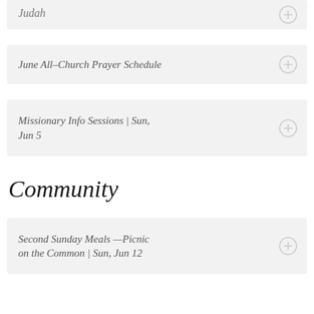Judah
June All-Church Prayer Schedule
Missionary Info Sessions | Sun, Jun 5
Community
Second Sunday Meals —Picnic on the Common | Sun, Jun 12